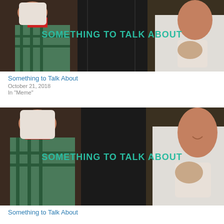[Figure (photo): Two women facing each other holding white coffee mugs, dark background, text overlay 'Something to Talk About' in teal lettering]
Something to Talk About
October 21, 2018
In "Meme"
[Figure (photo): Same image repeated: Two women facing each other holding white coffee mugs, dark background, text overlay 'Something to Talk About' in teal lettering]
Something to Talk About